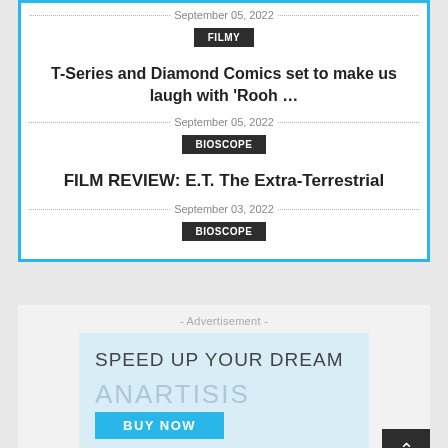September 05, 2022
FILMY
T-Series and Diamond Comics set to make us laugh with ‘Rooh …
September 05, 2022
BIOSCOPE
FILM REVIEW: E.T. The Extra-Terrestrial
September 03, 2022
BIOSCOPE
- Advertisement -
[Figure (other): Advertisement banner with text SPEED UP YOUR DREAM, ANARTISIS, and BUY NOW button on light blue background]